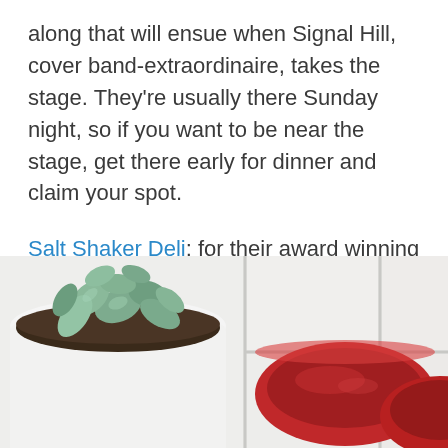along that will ensue when Signal Hill, cover band-extraordinaire, takes the stage. They're usually there Sunday night, so if you want to be near the stage, get there early for dinner and claim your spot.
Salt Shaker Deli: for their award winning seafood chowder and their back deck overlooking lovely Lunenburg.
[Figure (photo): Top-down view of a white tiled surface with a succulent plant in a white pot on the left and a red bowl or plate with soup/liquid on the right.]